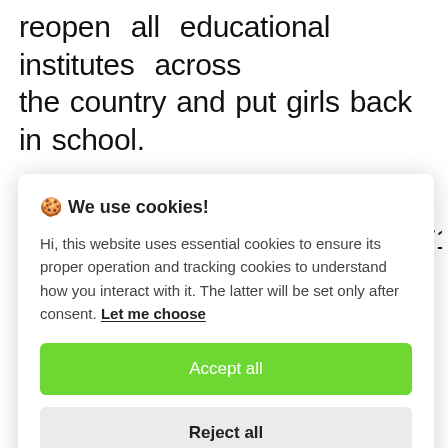reopen all educational institutes across the country and put girls back in school.
PAN Monitor/mud
MENAFN2401202200017401103710110358812
🍪 We use cookies!
Hi, this website uses essential cookies to ensure its proper operation and tracking cookies to understand how you interact with it. The latter will be set only after consent. Let me choose
[Accept all] [Reject all]